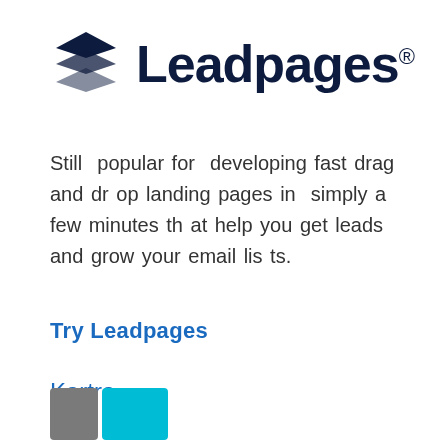[Figure (logo): Leadpages logo with layered diamond/pages icon and bold dark navy text reading 'Leadpages' with registered trademark symbol]
Still popular for developing fast drag and drop landing pages in simply a few minutes that help you get leads and grow your email lists.
Try Leadpages
Kartra
[Figure (logo): Partial Kartra logo showing a grey square and teal/cyan rectangle at bottom of page]